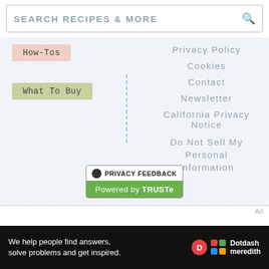SEARCH RECIPES & MORE
How-Tos
What To Buy
Privacy Policy
Cookies
Contact
Newsletter
California Privacy Notice
Do Not Sell My Personal Information
[Figure (logo): Privacy Feedback badge with TRUSTe branding — black dot icon with PRIVACY FEEDBACK text on top, green bar with Powered by TRUSTe on bottom]
[Figure (logo): Dotdash Meredith logo — red D circle, colorful grid icon, and Dotdash meredith text]
We help people find answers, solve problems and get inspired.
[Figure (logo): Dotdash Meredith logo in ad banner]